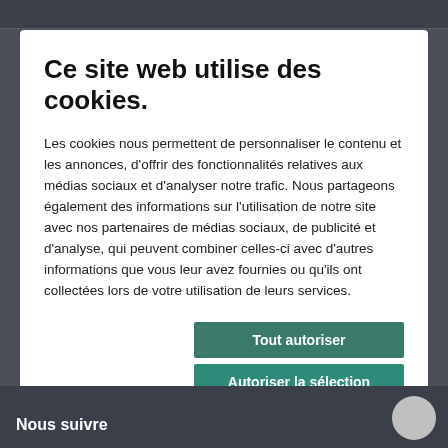Ce site web utilise des cookies.
Les cookies nous permettent de personnaliser le contenu et les annonces, d'offrir des fonctionnalités relatives aux médias sociaux et d'analyser notre trafic. Nous partageons également des informations sur l'utilisation de notre site avec nos partenaires de médias sociaux, de publicité et d'analyse, qui peuvent combiner celles-ci avec d'autres informations que vous leur avez fournies ou qu'ils ont collectées lors de votre utilisation de leurs services.
Tout autoriser
Autoriser la sélection
Refuser
| ✔ Nécessaires | ☐ Préférences | Afficher les détails ∨ |
| ☐ Statistiques | ☐ Marketing |  |
Nous suivre